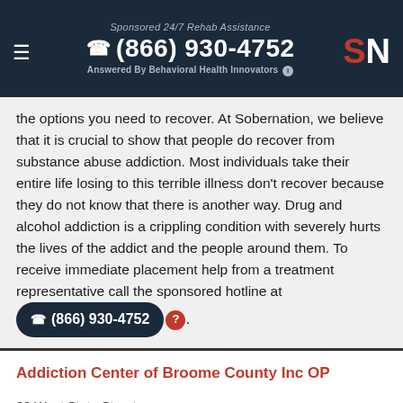Sponsored 24/7 Rehab Assistance
☎ (866) 930-4752
Answered By Behavioral Health Innovators
the options you need to recover. At Sobernation, we believe that it is crucial to show that people do recover from substance abuse addiction. Most individuals take their entire life losing to this terrible illness don't recover because they do not know that there is another way. Drug and alcohol addiction is a crippling condition with severely hurts the lives of the addict and the people around them. To receive immediate placement help from a treatment representative call the sponsored hotline at ☎ (866) 930-4752 ?.
Addiction Center of Broome County Inc OP
30 West State Street
Binghamton, NY 13901